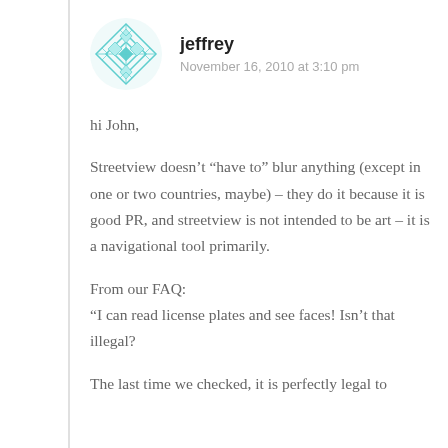[Figure (illustration): Teal/cyan geometric diamond avatar icon for user jeffrey]
jeffrey
November 16, 2010 at 3:10 pm
hi John,
Streetview doesn’t “have to” blur anything (except in one or two countries, maybe) – they do it because it is good PR, and streetview is not intended to be art – it is a navigational tool primarily.
From our FAQ:
“I can read license plates and see faces! Isn’t that illegal?
The last time we checked, it is perfectly legal to